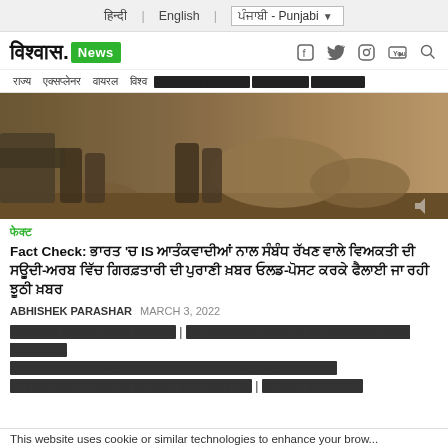हिन्दी   English   ਪੰਜਾਬੀ - Punjabi
[Figure (logo): विश्वास.News logo with green News badge]
Navigation bar with Hindi menu items
[Figure (photo): Video thumbnail showing soldiers/people walking in a dusty warzone area]
फेक्ट
Fact Check: भारत 'च IS आतंकवादियों नाल संबंध रखने वाले व्यक्ति दी सऊदी-अरब विच गिरफ्तारी दी पुरानी ख़बर ओल्ड-पोस्ट करके फैलाई जा रही झूठी खबर
ABHISHEK PARASHAR  MARCH 3, 2022
नई दिल्ली (विश्वास न्यूज)। सोशल मीडिया पर एक पोस्ट वायरल हो रही है जिस में एक वीडियो शेयर करके दावा किया जा रहा है कि भारत के IS आतंकवादियों नाल संबंध रखने वाले व्यक्ति नूं सऊदी अरब विच गिरफ्तार किया गया है। विश्वास न्यूज़ की जांच में पता...
This website uses cookie or similar technologies to enhance your brow...